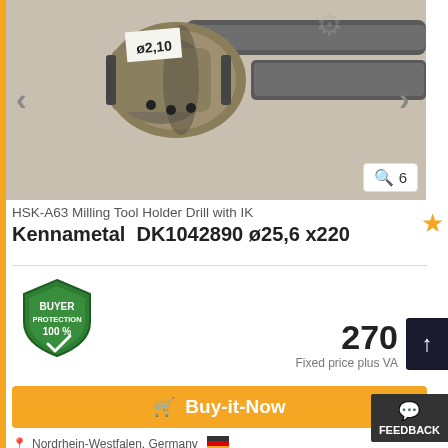[Figure (photo): HSK-A63 milling tool holder drill with IK from Kennametal, showing the metal tool with a label reading ø2,10, navigation arrows and image counter showing 6]
HSK-A63 Milling Tool Holder Drill with IK
Kennametal DK1042890 ø25,6 x220
[Figure (logo): Buyer Protection 100% shield badge in green]
270
Fixed price plus VA
Buy-it-Now
FEEDBACK
Nordrhein-Westfalen, Germany